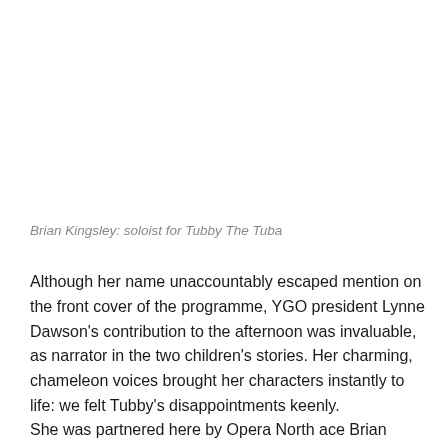Brian Kingsley: soloist for Tubby The Tuba
Although her name unaccountably escaped mention on the front cover of the programme, YGO president Lynne Dawson's contribution to the afternoon was invaluable, as narrator in the two children's stories. Her charming, chameleon voices brought her characters instantly to life: we felt Tubby's disappointments keenly.
She was partnered here by Opera North ace Brian Kingsley, the...